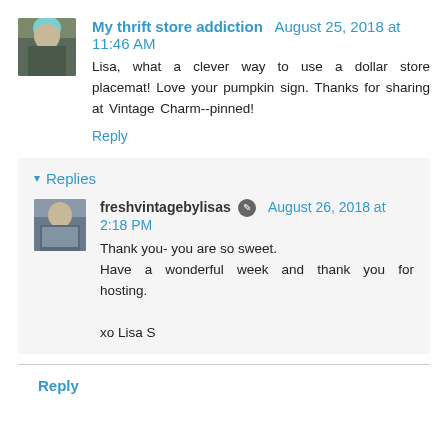My thrift store addiction  August 25, 2018 at 11:46 AM
Lisa, what a clever way to use a dollar store placemat! Love your pumpkin sign. Thanks for sharing at Vintage Charm--pinned!
Reply
Replies
[Figure (photo): Small square avatar photo of a person with teal/green hair]
freshvintagebylisas  August 26, 2018 at 2:18 PM
Thank you- you are so sweet.
Have a wonderful week and thank you for hosting.
xo Lisa S
Reply